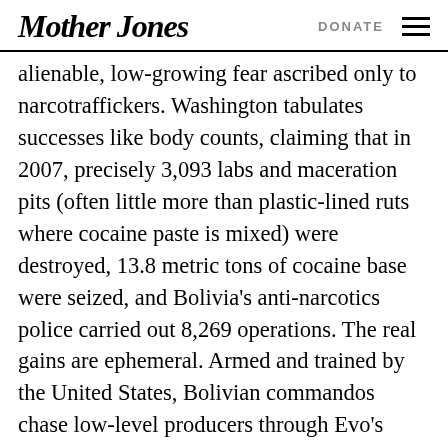Mother Jones | DONATE
alienable, low-growing fear ascribed only to narcotraffickers. Washington tabulates successes like body counts, claiming that in 2007, precisely 3,093 labs and maceration pits (often little more than plastic-lined ruts where cocaine paste is mixed) were destroyed, 13.8 metric tons of cocaine base were seized, and Bolivia's anti-narcotics police carried out 8,269 operations. The real gains are ephemeral. Armed and trained by the United States, Bolivian commandos chase low-level producers through Evo's Chapare region; meanwhile major traffickers sometimes walk out of jail, as pure and cheap cocaine floods onto world markets. On a fundamental level, the war on drugs is like all the other wars conditions... Bolivia has closed, B...